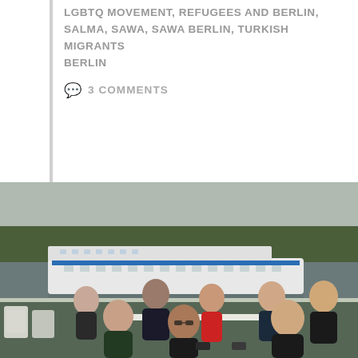LGBTQ MOVEMENT, REFUGEES AND BERLIN, SALMA, SAWA, SAWA BERLIN, TURKISH MIGRANTS BERLIN
3 COMMENTS
[Figure (photo): Group of young people sitting at a table on the deck of a boat on a river in Berlin. A large white river cruise ship is visible in the background along with trees and urban scenery. The group includes approximately 8-9 people smiling at the camera.]